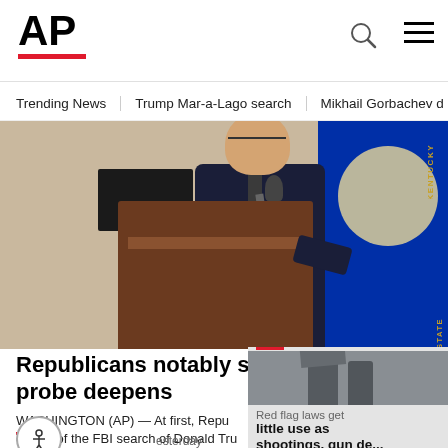AP
Trending News  Trump Mar-a-Lago search  Mikhail Gorbachev d
[Figure (photo): A man in a dark suit speaks at a wooden podium with a microphone. An American flag and Kentucky state flag are visible in the background.]
Republicans notably silent, s probe deepens
WASHINGTON (AP) — At first, Repu critical of the FBI search of Donald Tru
[Figure (photo): Small floating video card showing people at a protest or outdoor scene. Overlay text reads: Red flag laws get little use as shootings, gun de...]